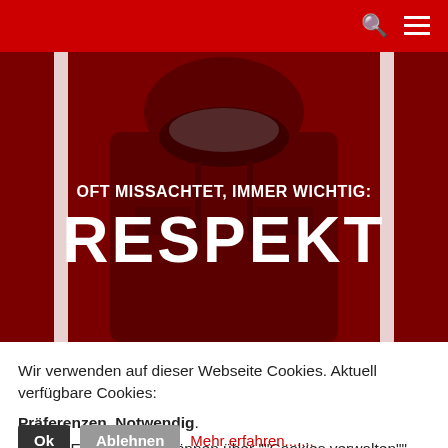Search and menu icons on red header bar
[Figure (photo): Hero image showing a person in a dark red jacket with overlaid text 'OFT MISSACHTET, IMMER WICHTIG: RESPEKT' in white bold lettering on a dark red/maroon background.]
Wir verwenden auf dieser Webseite Cookies. Aktuell verfügbare Cookies:
Präferenzen, Notwendig. Cookie Einstellungen können über ""Cookies verwalten"" am unteren Ende der Seite geändert und Einwilligungen widerrufen werden.
Ok
Ablehnen
Mehr erfahren.......